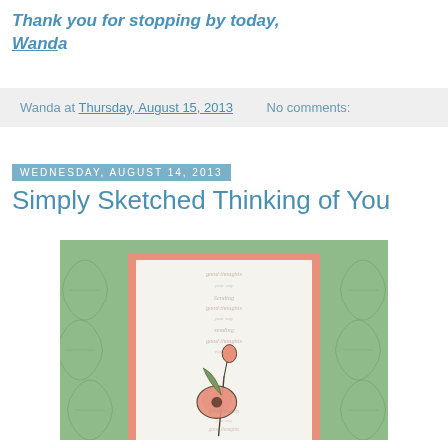Thank you for stopping by today, Wanda
Wanda at Thursday, August 15, 2013   No comments:
Wednesday, August 14, 2013
Simply Sketched Thinking of You
[Figure (photo): Handmade greeting card with green embossed leaf background, salmon/peach border, white panel with repeated 'good thoughts' stamped text, and a peach poppy flower illustration in the center.]